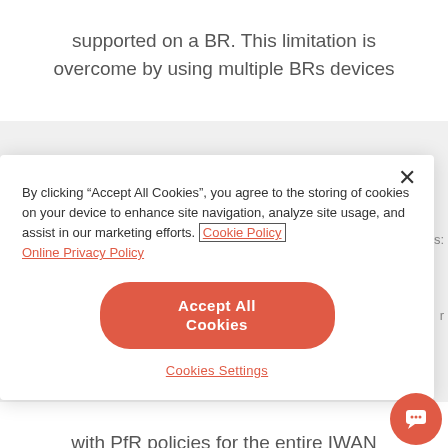supported on a BR. This limitation is overcome by using multiple BRs devices
By clicking “Accept All Cookies”, you agree to the storing of cookies on your device to enhance site navigation, analyze site usage, and assist in our marketing efforts. Cookie Policy Online Privacy Policy
Accept All Cookies
Cookies Settings
with PfR policies for the entire IWAN